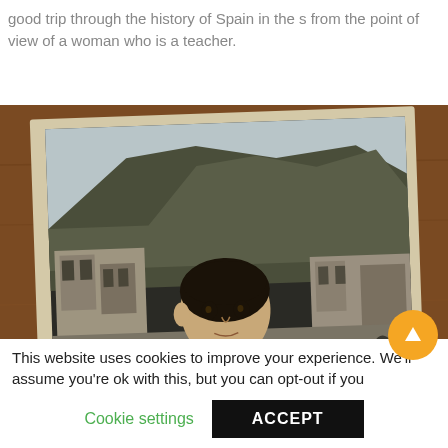good trip through the history of Spain in the s from the point of view of a woman who is a teacher.
[Figure (photo): A book cover photographed on a wooden surface. The cover shows a black-and-white vintage image of a young person standing in a village street with stone buildings and a mountain in the background.]
This website uses cookies to improve your experience. We'll assume you're ok with this, but you can opt-out if you
Cookie settings
ACCEPT